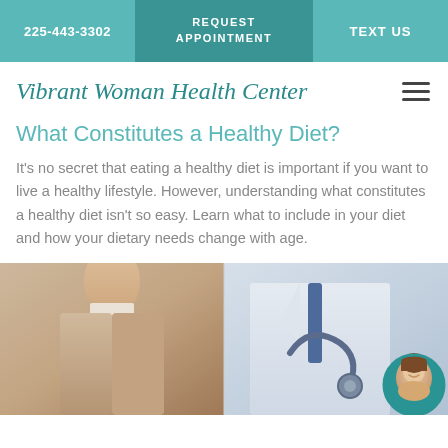225-443-3302 | REQUEST APPOINTMENT | TEXT US
Vibrant Woman Health Center
What Constitutes a Healthy Diet?
It's no secret that eating a healthy diet is important if you want to live a healthy lifestyle. However, understanding what constitutes a healthy diet isn't so easy. Learn what to include in your diet and how your dietary needs change with age.
[Figure (photo): Split photo showing a woman in a beige cardigan on the left and a doctor in a white coat with stethoscope on the right, with a circular chat avatar of a woman in the bottom right corner]